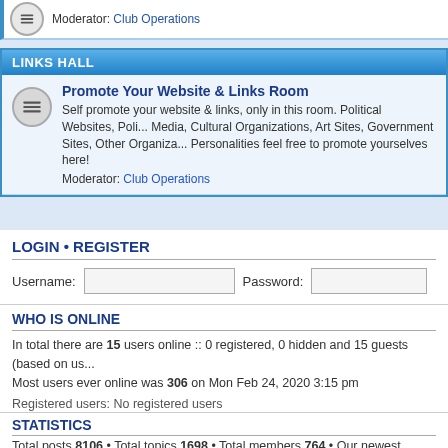Moderator: Club Operations
LINKS HALL
Promote Your Website & Links Room
Self promote your website & links, only in this room. Political Websites, Political Media, Cultural Organizations, Art Sites, Government Sites, Other Organizations, Personalities feel free to promote yourselves here!
Moderator: Club Operations
LOGIN • REGISTER
Username:
Password:
WHO IS ONLINE
In total there are 15 users online :: 0 registered, 0 hidden and 15 guests (based on us...
Most users ever online was 306 on Mon Feb 24, 2020 3:15 pm
Registered users: No registered users
Legend: Administrators, Club Operations, Global moderators, Political Operations, We...
STATISTICS
Total posts 8106 • Total topics 1698 • Total members 764 • Our newest member Avalo...